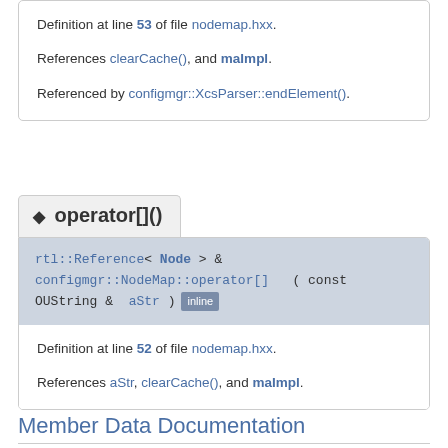Definition at line 53 of file nodemap.hxx.

References clearCache(), and maImpl.

Referenced by configmgr::XcsParser::endElement().
operator[]()
rtl::Reference< Node > & configmgr::NodeMap::operator[] ( const OUString & aStr ) inline
Definition at line 52 of file nodemap.hxx.

References aStr, clearCache(), and maImpl.
Member Data Documentation